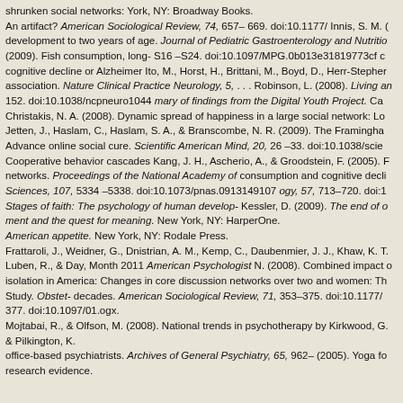shrunken social networks: York, NY: Broadway Books. An artifact? American Sociological Review, 74, 657– 669. doi:10.1177/ Innis, S. M. (development to two years of age. Journal of Pediatric Gastroenterology and Nutritio (2009). Fish consumption, long- S16 –S24. doi:10.1097/MPG.0b013e31819773cf c cognitive decline or Alzheimer Ito, M., Horst, H., Brittani, M., Boyd, D., Herr-Stepher association. Nature Clinical Practice Neurology, 5, . . . Robinson, L. (2008). Living an 152. doi:10.1038/ncpneuro1044 mary of findings from the Digital Youth Project. Ca Christakis, N. A. (2008). Dynamic spread of happiness in a large social network: Lo Jetten, J., Haslam, C., Haslam, S. A., & Branscombe, N. R. (2009). The Framingha Advance online social cure. Scientific American Mind, 20, 26 –33. doi:10.1038/scie Cooperative behavior cascades Kang, J. H., Ascherio, A., & Groodstein, F. (2005). networks. Proceedings of the National Academy of consumption and cognitive decli Sciences, 107, 5334 –5338. doi:10.1073/pnas.0913149107 ogy, 57, 713–720. doi:1 Stages of faith: The psychology of human develop- Kessler, D. (2009). The end of ment and the quest for meaning. New York, NY: HarperOne. American appetite. New York, NY: Rodale Press. Frattaroli, J., Weidner, G., Dnistrian, A. M., Kemp, C., Daubenmier, J. J., Khaw, K. T. Luben, R., & Day, Month 2011 American Psychologist N. (2008). Combined impact isolation in America: Changes in core discussion networks over two and women: Th Study. Obstet- decades. American Sociological Review, 71, 353–375. doi:10.1177/ 377. doi:10.1097/01.ogx. Mojtabai, R., & Olfson, M. (2008). National trends in psychotherapy by Kirkwood, G. & Pilkington, K. office-based psychiatrists. Archives of General Psychiatry, 65, 962– (2005). Yoga fo research evidence.